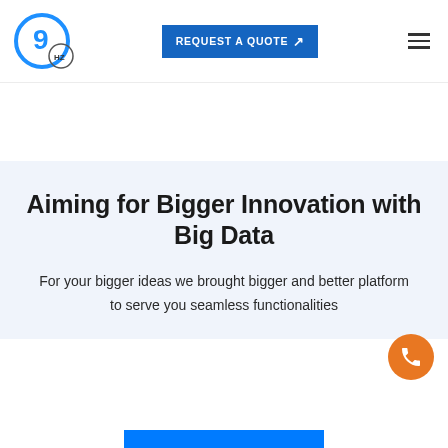[Figure (logo): 9hz logo — blue circle with '9' inside and 'HZ' subscript text]
[Figure (other): REQUEST A QUOTE button with arrow icon, blue background]
[Figure (other): Hamburger menu icon, three horizontal lines]
Aiming for Bigger Innovation with Big Data
For your bigger ideas we brought bigger and better platform to serve you seamless functionalities
[Figure (other): Orange circular phone/call button floating on right side]
[Figure (other): Blue CTA bar at the bottom of the page]